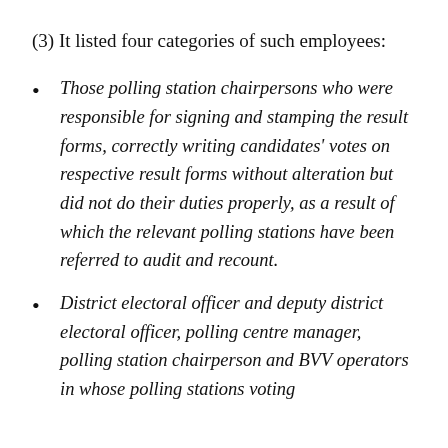(3) It listed four categories of such employees:
Those polling station chairpersons who were responsible for signing and stamping the result forms, correctly writing candidates' votes on respective result forms without alteration but did not do their duties properly, as a result of which the relevant polling stations have been referred to audit and recount.
District electoral officer and deputy district electoral officer, polling centre manager, polling station chairperson and BVV operators in whose polling stations voting